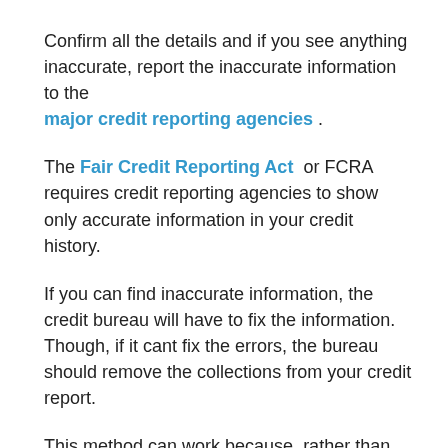Confirm all the details and if you see anything inaccurate, report the inaccurate information to the major credit reporting agencies .
The Fair Credit Reporting Act or FCRA requires credit reporting agencies to show only accurate information in your credit history.
If you can find inaccurate information, the credit bureau will have to fix the information. Though, if it cant fix the errors, the bureau should remove the collections from your credit report.
This method can work because, rather than simply disputing the entire entry, you are going to write an advanced dispute letter that lists especially what is